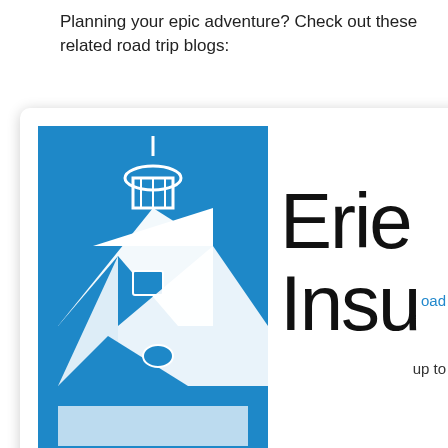Planning your epic adventure? Check out these related road trip blogs:
[Figure (logo): Erie Insurance logo with building/cupola icon and text 'Erie Insu' (partially cropped), and a badge reading AMERICA'S BEST INSURANCE COMPANIES with a dark red border.]